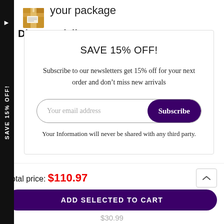[Figure (illustration): Cardboard shipping box illustration in top-left background area]
your package
Discreet delivery
SAVE 15% OFF!
Subscribe to our newsletters get 15% off for your next order and don't miss new arrivals
Your email address  Subscribe
Your Information will never be shared with any third party.
Total price: $110.97
ADD SELECTED TO CART
$30.99